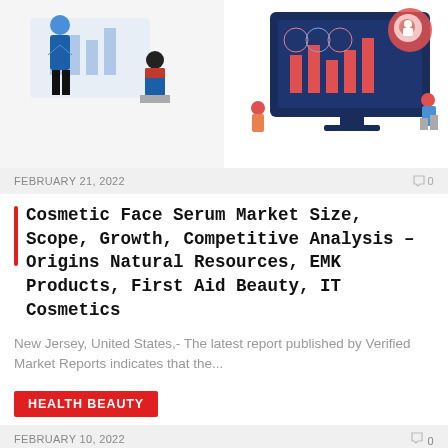[Figure (illustration): Two-part illustration: left side shows a woman presenting at a whiteboard with a seated man, business analytics scene; right side shows a large monitor with charts and data analytics graphics with small figures around it.]
FEBRUARY 21, 2022
0
Cosmetic Face Serum Market Size, Scope, Growth, Competitive Analysis – Origins Natural Resources, EMK Products, First Aid Beauty, IT Cosmetics
New Jersey, United States,- The latest report published by Verified Market Reports indicates that the...
HEALTH BEAUTY
FEBRUARY 10, 2022
0
How to get Jessica Alba's 'expensive blonde' look
There's a hair color trend ready to take over spring. They call her